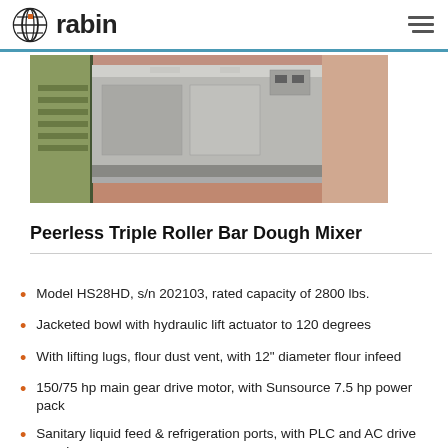rabin
[Figure (photo): Industrial Peerless Triple Roller Bar Dough Mixer in a food processing facility, showing stainless steel machine body with red epoxy floor and green staircase visible in background.]
Peerless Triple Roller Bar Dough Mixer
Model HS28HD, s/n 202103, rated capacity of 2800 lbs.
Jacketed bowl with hydraulic lift actuator to 120 degrees
With lifting lugs, flour dust vent, with 12" diameter flour infeed
150/75 hp main gear drive motor, with Sunsource 7.5 hp power pack
Sanitary liquid feed & refrigeration ports, with PLC and AC drive panels